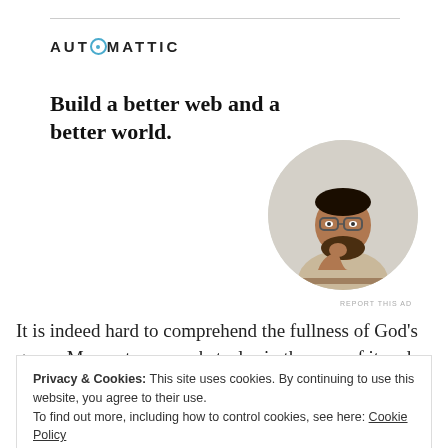[Figure (logo): Automattic logo with stylized 'O' in teal/blue circle with dot, all-caps spaced lettering: AUTOMATTIC]
Build a better web and a better world.
[Figure (photo): Circular cropped photo of a man with glasses and beard, wearing a beige shirt, leaning on a desk and looking upward thoughtfully]
REPORT THIS AD
It is indeed hard to comprehend the fullness of God's grace. Man puts many obstacles in the way of it and
Privacy & Cookies: This site uses cookies. By continuing to use this website, you agree to their use.
To find out more, including how to control cookies, see here: Cookie Policy
because we are just too sinful. They tell us that God